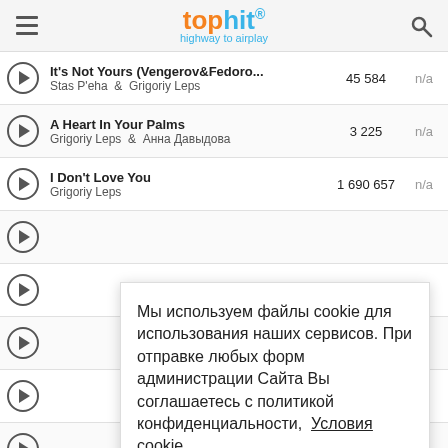tophit® highway to airplay
It's Not Yours (Vengerov&Fedoro... — Stas P'eha & Grigoriy Leps — 45 584 — n/a
A Heart In Your Palms — Grigoriy Leps & Анна Давыдова — 3 225 — n/a
I Don't Love You — Grigoriy Leps — 1 690 657 — n/a
Мы используем файлы cookie для использования наших сервисов. При отправке любых форм администрации Сайта Вы соглашаетесь с политикой конфиденциальности,  Условия cookie
Понятно